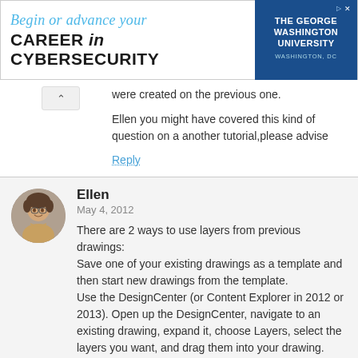[Figure (infographic): Advertisement banner for The George Washington University cybersecurity program. Text reads 'Begin or advance your CAREER in CYBERSECURITY' with university logo on right side.]
were created on the previous one.
Ellen you might have covered this kind of question on a another tutorial,please advise
Reply
Ellen
May 4, 2012
There are 2 ways to use layers from previous drawings:
Save one of your existing drawings as a template and then start new drawings from the template.
Use the DesignCenter (or Content Explorer in 2012 or 2013). Open up the DesignCenter, navigate to an existing drawing, expand it, choose Layers, select the layers you want, and drag them into your drawing.